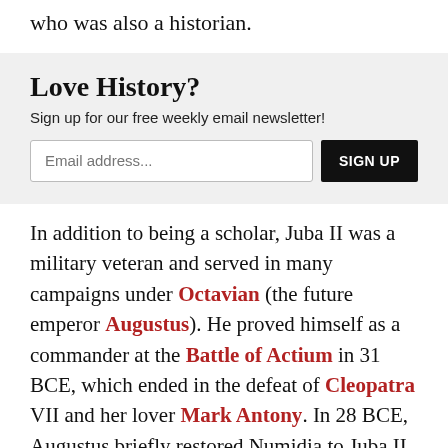who was also a historian.
Love History?
Sign up for our free weekly email newsletter!
In addition to being a scholar, Juba II was a military veteran and served in many campaigns under Octavian (the future emperor Augustus). He proved himself as a commander at the Battle of Actium in 31 BCE, which ended in the defeat of Cleopatra VII and her lover Mark Antony. In 28 BCE, Augustus briefly restored Numidia to Juba II as a reward for his service. Numidia returned to